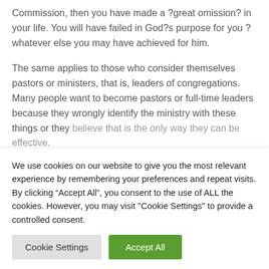Commission, then you have made a ?great omission? in your life. You will have failed in God?s purpose for you ? whatever else you may have achieved for him.
The same applies to those who consider themselves pastors or ministers, that is, leaders of congregations. Many people want to become pastors or full-time leaders because they wrongly identify the ministry with these things or they believe that is the only way they can be effective.
We use cookies on our website to give you the most relevant experience by remembering your preferences and repeat visits. By clicking “Accept All”, you consent to the use of ALL the cookies. However, you may visit "Cookie Settings" to provide a controlled consent.